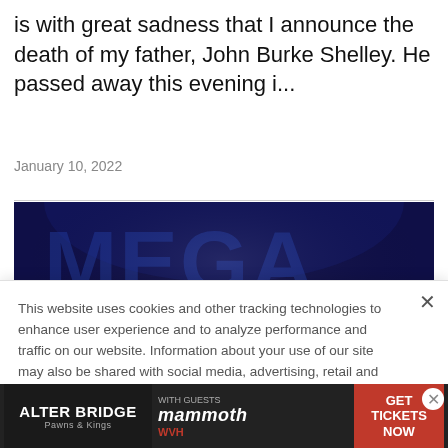is with great sadness that I announce the death of my father, John Burke Shelley. He passed away this evening i...
January 10, 2022
[Figure (photo): A person with long hair singing or speaking into a microphone on a dark stage with blue lighting and large letters visible in the background]
This website uses cookies and other tracking technologies to enhance user experience and to analyze performance and traffic on our website. Information about your use of our site may also be shared with social media, advertising, retail and analytics providers and partners. Privacy Policy
[Figure (infographic): Advertisement banner for Alter Bridge Pawns & Kings tour with mammoth WVH as guests, with GET TICKETS NOW call to action]